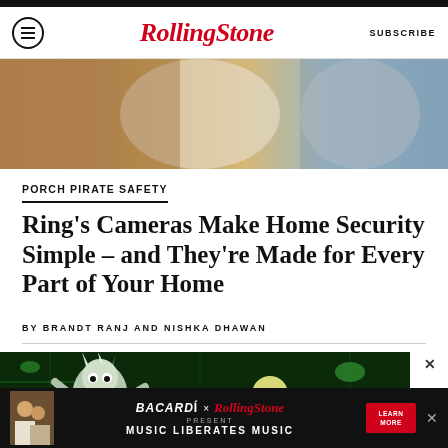RollingStone — SUBSCRIBE
[Figure (photo): Top hero image showing people, warm and blue tones]
PORCH PIRATE SAFETY
Ring's Cameras Make Home Security Simple – and They're Made for Every Part of Your Home
BY BRANDT RANJ AND NISHKA DHAWAN
[Figure (screenshot): Rick and Morty animated characters on dark green background]
[Figure (infographic): BACARDÍ × RollingStone Present MUSIC LIBERATES MUSIC advertisement banner with Learn More button]